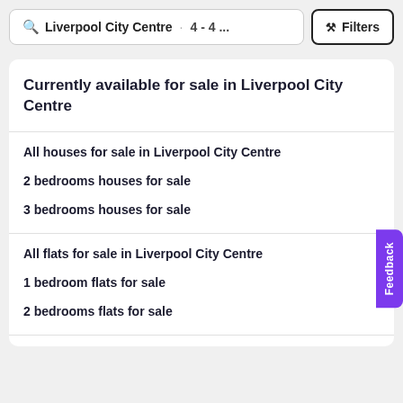Liverpool City Centre · 4 - 4 ...   Filters
Currently available for sale in Liverpool City Centre
All houses for sale in Liverpool City Centre
2 bedrooms houses for sale
3 bedrooms houses for sale
All flats for sale in Liverpool City Centre
1 bedroom flats for sale
2 bedrooms flats for sale